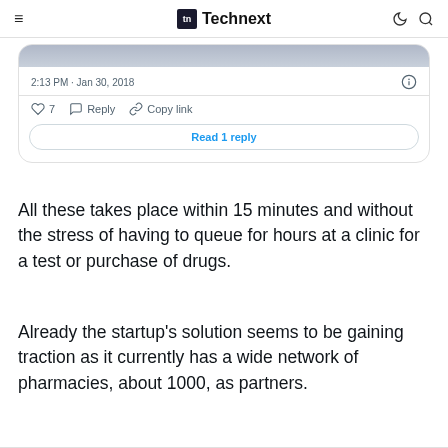Technext
[Figure (screenshot): Embedded tweet screenshot showing timestamp 2:13 PM · Jan 30, 2018, like count of 7, Reply and Copy link actions, and a Read 1 reply button]
All these takes place within 15 minutes and without the stress of having to queue for hours at a clinic for a test or purchase of drugs.
Already the startup's solution seems to be gaining traction as it currently has a wide network of pharmacies, about 1000, as partners.